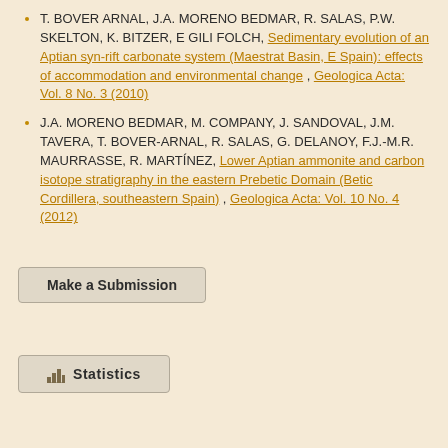T. BOVER ARNAL, J.A. MORENO BEDMAR, R. SALAS, P.W. SKELTON, K. BITZER, E GILI FOLCH, Sedimentary evolution of an Aptian syn-rift carbonate system (Maestrat Basin, E Spain): effects of accommodation and environmental change , Geologica Acta: Vol. 8 No. 3 (2010)
J.A. MORENO BEDMAR, M. COMPANY, J. SANDOVAL, J.M. TAVERA, T. BOVER-ARNAL, R. SALAS, G. DELANOY, F.J.-M.R. MAURRASSE, R. MARTÍNEZ, Lower Aptian ammonite and carbon isotope stratigraphy in the eastern Prebetic Domain (Betic Cordillera, southeastern Spain) , Geologica Acta: Vol. 10 No. 4 (2012)
Make a Submission
Statistics